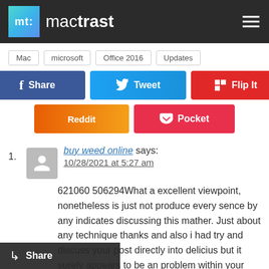mactrast
Mac
microsoft
Office 2016
Updates
[Figure (infographic): Social share buttons: Share (Facebook), Tweet (Twitter), Flip It (Flipboard), Reddit, Pocket]
1. buy weed online says:
10/28/2021 at 5:27 am
621060 506294What a excellent viewpoint, nonetheless is just not produce every sence by any indicates discussing this mather. Just about any technique thanks and also i had try and discuss your post directly into delicius but it surely appears to be an problem within your